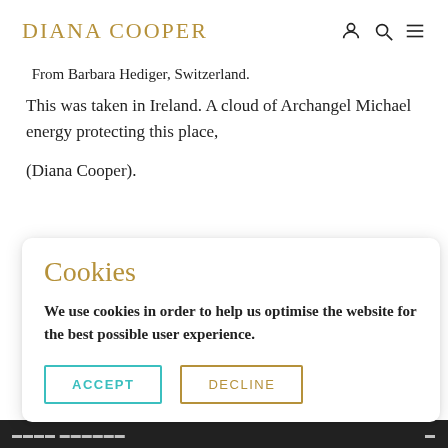DIANA COOPER
From Barbara Hediger, Switzerland.
This was taken in Ireland. A cloud of Archangel Michael energy protecting this place,
(Diana Cooper).
Cookies
We use cookies in order to help us optimise the website for the best possible user experience.
ACCEPT   DECLINE